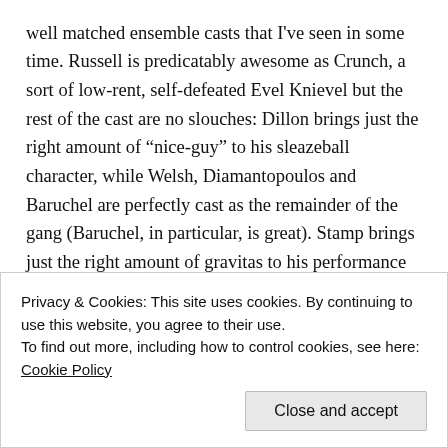well matched ensemble casts that I've seen in some time. Russell is predicatably awesome as Crunch, a sort of low-rent, self-defeated Evel Knievel but the rest of the cast are no slouches: Dillon brings just the right amount of “nice-guy” to his sleazeball character, while Welsh, Diamantopoulos and Baruchel are perfectly cast as the remainder of the gang (Baruchel, in particular, is great). Stamp brings just the right amount of gravitas to his performance as Sam, perhaps giving us a peek into the “retired” life of some of his more famous gangster characters, and plays well against the simpering stupidity that is Jones’ Interpol agent. There’s a great bit where Sam tells Bick that he wouldn’t recognize a vagina if it were 4
Privacy & Cookies: This site uses cookies. By continuing to use this website, you agree to their use.
To find out more, including how to control cookies, see here: Cookie Policy
From a craft standpoint, Sobol uses a bit of a “kitchen-